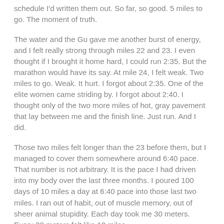schedule I'd written them out. So far, so good. 5 miles to go. The moment of truth.
The water and the Gu gave me another burst of energy, and I felt really strong through miles 22 and 23. I even thought if I brought it home hard, I could run 2:35. But the marathon would have its say. At mile 24, I felt weak. Two miles to go. Weak. It hurt. I forgot about 2:35. One of the elite women came striding by. I forgot about 2:40. I thought only of the two more miles of hot, gray pavement that lay between me and the finish line. Just run. And I did.
Those two miles felt longer than the 23 before them, but I managed to cover them somewhere around 6:40 pace. That number is not arbitrary. It is the pace I had driven into my body over the last three months. I poured 100 days of 10 miles a day at 6:40 pace into those last two miles. I ran out of habit, out of muscle memory, out of sheer animal stupidity. Each day took me 30 meters. Every 30 meters felt like 10 miles.